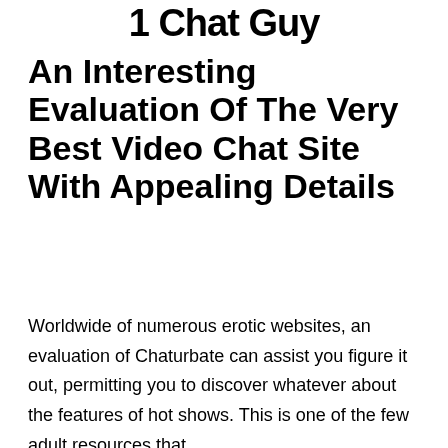1 Chat Guy
An Interesting Evaluation Of The Very Best Video Chat Site With Appealing Details
Worldwide of numerous erotic websites, an evaluation of Chaturbate can assist you figure it out, permitting you to discover whatever about the features of hot shows. This is one of the few adult resources that